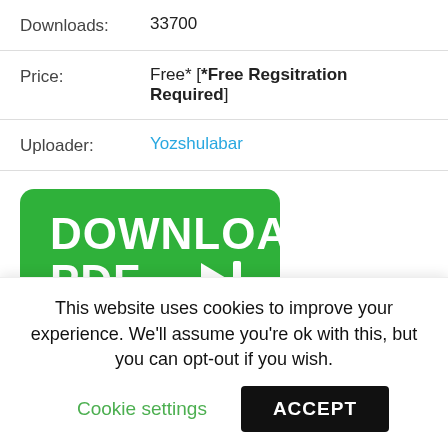| Downloads: | 33700 |
| Price: | Free* [*Free Regsitration Required] |
| Uploader: | Yozshulabar |
[Figure (other): Green download button with white bold text reading DOWNLOAD PDF and an arrow pointing right with a vertical bar]
Power Entry Module Accessories. For your security
This website uses cookies to improve your experience. We'll assume you're ok with this, but you can opt-out if you wish.
Cookie settings
ACCEPT